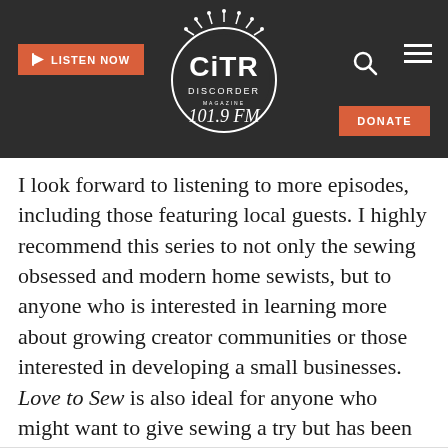CiTR Discorder 101.9 FM — LISTEN NOW | DONATE
I look forward to listening to more episodes, including those featuring local guests. I highly recommend this series to not only the sewing obsessed and modern home sewists, but to anyone who is interested in learning more about growing creator communities or those interested in developing a small businesses. Love to Sew is also ideal for anyone who might want to give sewing a try but has been afraid to do so.